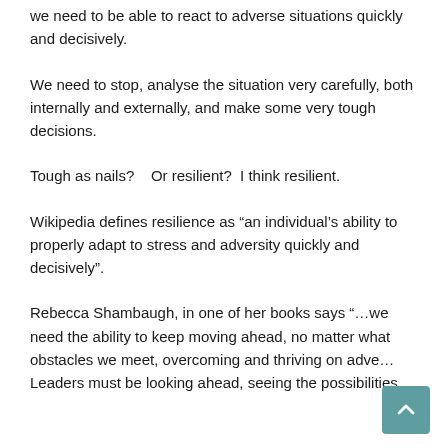we need to be able to react to adverse situations quickly and decisively.
We need to stop, analyse the situation very carefully, both internally and externally, and make some very tough decisions.
Tough as nails?   Or resilient?  I think resilient.
Wikipedia defines resilience as “an individual’s ability to properly adapt to stress and adversity quickly and decisively”.
Rebecca Shambaugh, in one of her books says “…we need the ability to keep moving ahead, no matter what obstacles we meet, overcoming and thriving on adve… Leaders must be looking ahead, seeing the possibilities,